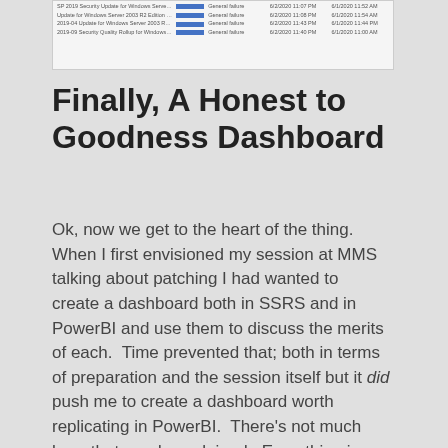[Figure (screenshot): A screenshot of a table/report listing Windows Server updates with columns for update name, a blue bar/link indicator, type (General failure), date/time columns.]
Finally, A Honest to Goodness Dashboard
Ok, now we get to the heart of the thing. When I first envisioned my session at MMS talking about patching I had wanted to create a dashboard both in SSRS and in PowerBI and use them to discuss the merits of each.  Time prevented that; both in terms of preparation and the session itself but it did push me to create a dashboard worth replicating in PowerBI.  There's not much here that needs explained.  Everything is a link to the other reports that are part of this solution.  The one